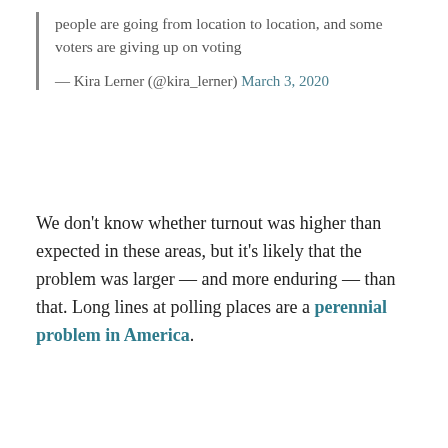people are going from location to location, and some voters are giving up on voting
— Kira Lerner (@kira_lerner) March 3, 2020
We don't know whether turnout was higher than expected in these areas, but it's likely that the problem was larger — and more enduring — than that. Long lines at polling places are a perennial problem in America.